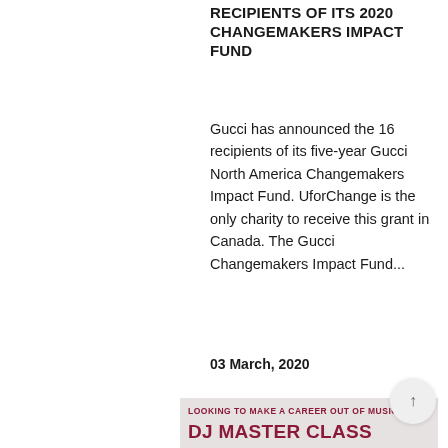RECIPIENTS OF ITS 2020 CHANGEMAKERS IMPACT FUND
Gucci has announced the 16 recipients of its five-year Gucci North America Changemakers Impact Fund. UforChange is the only charity to receive this grant in Canada. The Gucci Changemakers Impact Fund...
03 March, 2020
[Figure (infographic): DJ Master Class promotional banner with text 'LOOKING TO MAKE A CAREER OUT OF MUSIC?' and 'DJ MASTER CLASS' in dark red/maroon on light grey background, with partial circular graphic at bottom]